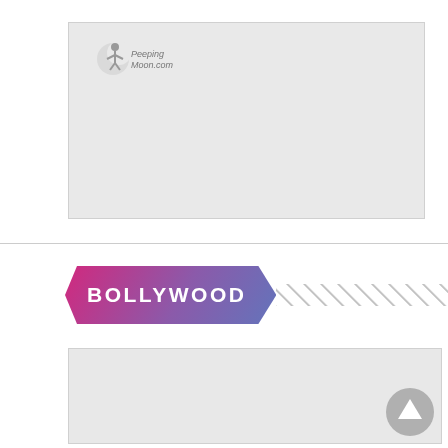[Figure (logo): PeepingMoon.com logo — grey placeholder image box with logo text in top-left area]
BOLLYWOOD
[Figure (photo): Large grey placeholder image below the Bollywood section header, with a scroll-to-top arrow button in bottom-right corner]